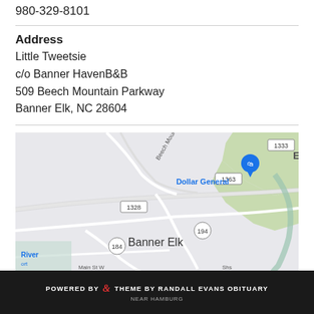980-329-8101
Address
Little Tweetsie
c/o Banner HavenB&B
509 Beech Mountain Parkway
Banner Elk, NC 28604
[Figure (map): Google Maps view of Banner Elk, NC area showing Beech Mountain Pkwy, route numbers 1328, 1363, 1333, 194, 184, Dollar General location marker, and Banner Elk label]
POWERED BY & THEME BY RANDALL EVANS OBITUARY
NEAR HAMBURG